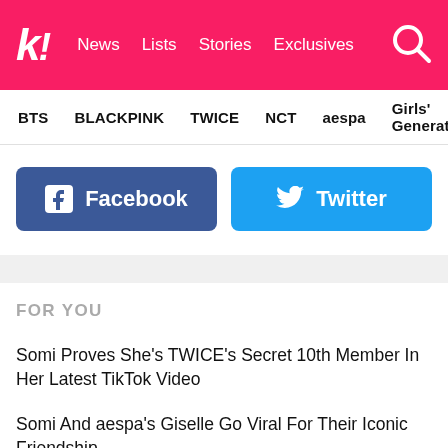k! News Lists Stories Exclusives
BTS BLACKPINK TWICE NCT aespa Girls' Generation
[Figure (infographic): Facebook and Twitter social share buttons]
FOR YOU
Somi Proves She's TWICE's Secret 10th Member In Her Latest TikTok Video
Somi And aespa's Giselle Go Viral For Their Iconic Friendship
4 Mixed Idols Who Can Rock Both Black And Blonde Hair
BTS Breaks Record With 2022 VMAs Win